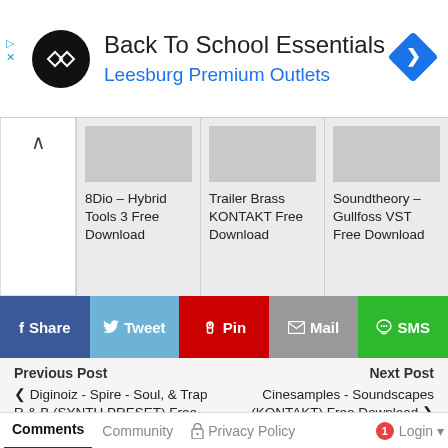[Figure (advertisement): Back To School Essentials ad banner for Leesburg Premium Outlets with circular logo and navigation icon]
[Figure (other): Related posts carousel with three items: 8Dio Hybrid Tools 3 Free Download, Trailer Brass KONTAKT Free Download, Soundtheory Gullfoss VST Free Download]
[Figure (infographic): Social share buttons: Share (Facebook), Tweet (Twitter), Pin (Pinterest), Mail, SMS]
Previous Post
❮ Diginoiz - Spire - Soul, & Trap R & B (SYNTH PRESET) Free Download
Next Post
Cinesamples - Soundscapes (KONTAKT) Free Download ❯
Comments  Community  🔒 Privacy Policy  🔴1  Login ▾